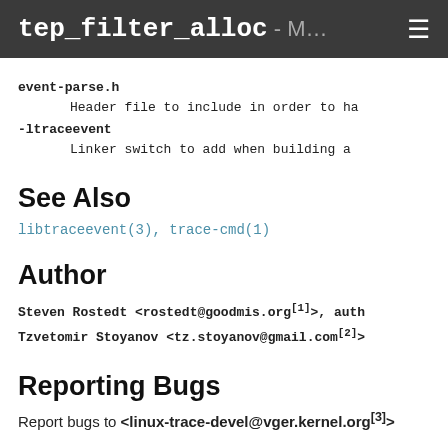tep_filter_alloc - M… ☰
event-parse.h
        Header file to include in order to ha
-ltraceevent
        Linker switch to add when building a
See Also
libtraceevent(3), trace-cmd(1)
Author
Steven Rostedt <rostedt@goodmis.org[1]>, auth
Tzvetomir Stoyanov <tz.stoyanov@gmail.com[2]>
Reporting Bugs
Report bugs to <linux-trace-devel@vger.kernel.org[3]>